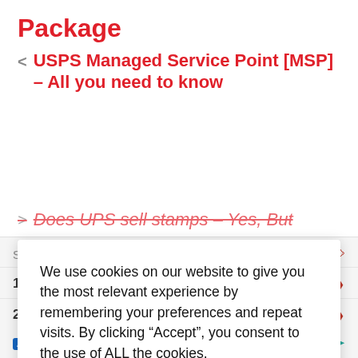Package
< USPS Managed Service Point [MSP] – All you need to know
> Does UPS sell stamps – Yes, But
We use cookies on our website to give you the most relevant experience by remembering your preferences and repeat visits. By clicking “Accept”, you consent to the use of ALL the cookies.
Cookie settings   ACCEPT
About Olivia
Search for
1. ALL INCLUSIVE RESORT DEALS >
2. SENIOR VACATION PACKAGE >
Ad | Business Focus